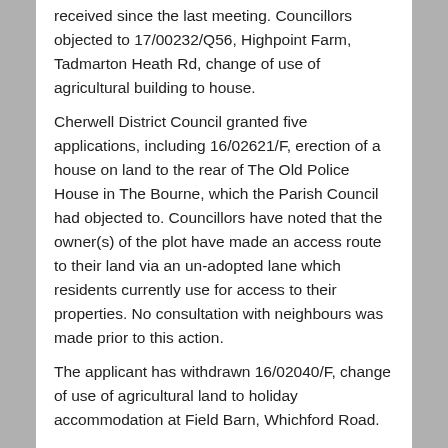received since the last meeting. Councillors objected to 17/00232/Q56, Highpoint Farm, Tadmarton Heath Rd, change of use of agricultural building to house.
Cherwell District Council granted five applications, including 16/02621/F, erection of a house on land to the rear of The Old Police House in The Bourne, which the Parish Council had objected to. Councillors have noted that the owner(s) of the plot have made an access route to their land via an un-adopted lane which residents currently use for access to their properties. No consultation with neighbours was made prior to this action.
The applicant has withdrawn 16/02040/F, change of use of agricultural land to holiday accommodation at Field Barn, Whichford Road.